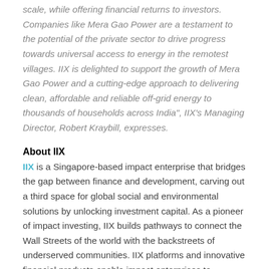scale, while offering financial returns to investors. Companies like Mera Gao Power are a testament to the potential of the private sector to drive progress towards universal access to energy in the remotest villages. IIX is delighted to support the growth of Mera Gao Power and a cutting-edge approach to delivering clean, affordable and reliable off-grid energy to thousands of households across India", IIX's Managing Director, Robert Kraybill, expresses.
About IIX
IIX is a Singapore-based impact enterprise that bridges the gap between finance and development, carving out a third space for global social and environmental solutions by unlocking investment capital. As a pioneer of impact investing, IIX builds pathways to connect the Wall Streets of the world with the backstreets of underserved communities. IIX platforms and innovative financial products enable impact enterprises to accelerate their business and positive impact, while